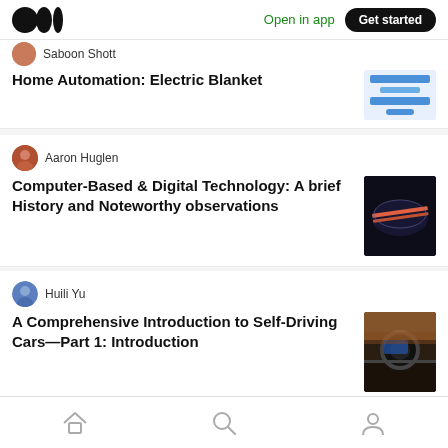Medium logo | Open in app | Get started
Saboon Shott
Home Automation: Electric Blanket
Aaron Huglen
Computer-Based & Digital Technology: A brief History and Noteworthy observations
Huili Yu
A Comprehensive Introduction to Self-Driving Cars—Part 1: Introduction
Harish kumar
I phone 12 Leaks...
Home | Search | Profile